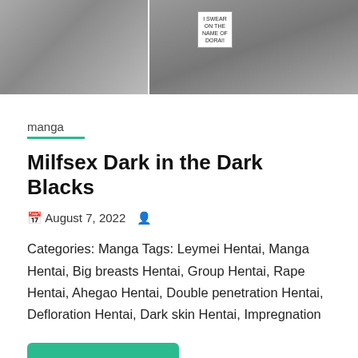[Figure (illustration): Two manga panels side by side: left panel shows a close-up of a character's face/neck in black and white, right panel shows another scene with a speech bubble reading 'I SWEAR ON THE NAME OF DORA!!']
manga
Milfsex Dark in the Dark Blacks
August 7, 2022
Categories: Manga Tags: Leymei Hentai, Manga Hentai, Big breasts Hentai, Group Hentai, Rape Hentai, Ahegao Hentai, Double penetration Hentai, Defloration Hentai, Dark skin Hentai, Impregnation
View Hentai
[Figure (illustration): Partial manga panel showing outdoor scene with trees and figures, black and white]